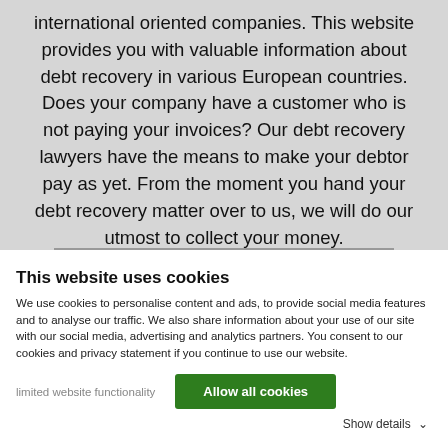international oriented companies. This website provides you with valuable information about debt recovery in various European countries. Does your company have a customer who is not paying your invoices? Our debt recovery lawyers have the means to make your debtor pay as yet. From the moment you hand your debt recovery matter over to us, we will do our utmost to collect your money.
This website uses cookies
We use cookies to personalise content and ads, to provide social media features and to analyse our traffic. We also share information about your use of our site with our social media, advertising and analytics partners. You consent to our cookies and privacy statement if you continue to use our website.
limited website functionality
Allow all cookies
Show details